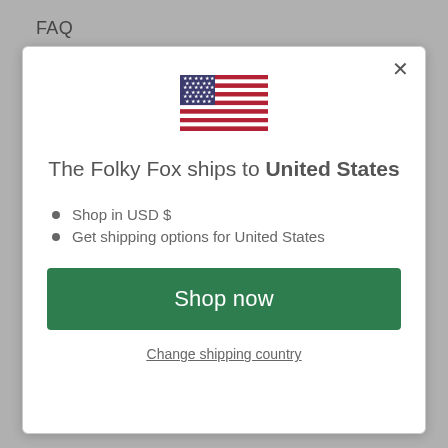FAQ
[Figure (illustration): US flag emoji/icon centered in modal]
The Folky Fox ships to United States
Shop in USD $
Get shipping options for United States
Shop now
Change shipping country